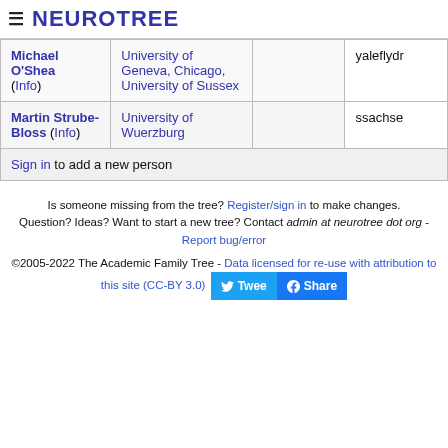≡ NEUROTREE
| Michael O'Shea (Info) | University of Geneva, Chicago, University of Sussex |  | yaleflydr |
| Martin Strube-Bloss (Info) | University of Wuerzburg |  | ssachse |
| Sign in to add a new person |  |  |  |
Is someone missing from the tree? Register/sign in to make changes. Question? Ideas? Want to start a new tree? Contact admin at neurotree dot org - Report bug/error
©2005-2022 The Academic Family Tree - Data licensed for re-use with attribution to this site (CC-BY 3.0)